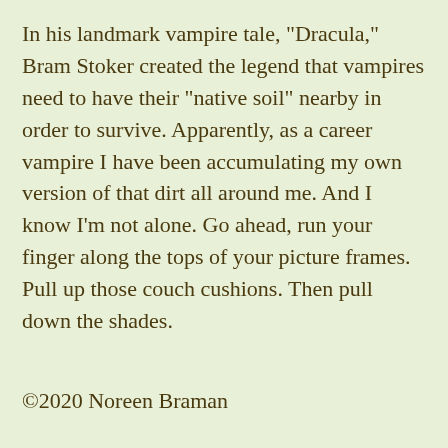In his landmark vampire tale, "Dracula," Bram Stoker created the legend that vampires need to have their "native soil" nearby in order to survive. Apparently, as a career vampire I have been accumulating my own version of that dirt all around me. And I know I'm not alone. Go ahead, run your finger along the tops of your picture frames. Pull up those couch cushions. Then pull down the shades.
©2020 Noreen Braman